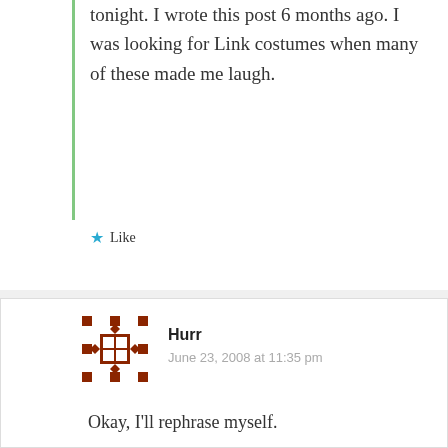tonight. I wrote this post 6 months ago. I was looking for Link costumes when many of these made me laugh.
Like
Hurr
June 23, 2008 at 11:35 pm
Okay, I'll rephrase myself.
“I certainly didn’t set out to offend anyone”
Except for some Link cosptumers.
Is that better?